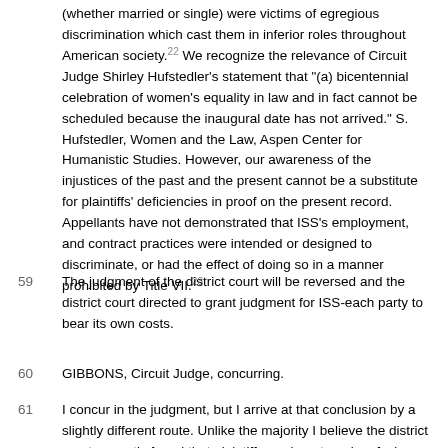(whether married or single) were victims of egregious discrimination which cast them in inferior roles throughout American society.22 We recognize the relevance of Circuit Judge Shirley Hufstedler's statement that "(a) bicentennial celebration of women's equality in law and in fact cannot be scheduled because the inaugural date has not arrived." S. Hufstedler, Women and the Law, Aspen Center for Humanistic Studies. However, our awareness of the injustices of the past and the present cannot be a substitute for plaintiffs' deficiencies in proof on the present record. Appellants have not demonstrated that ISS's employment, and contract practices were intended or designed to discriminate, or had the effect of doing so in a manner prohibited by Title VII.23
59 The judgment of the district court will be reversed and the district court directed to grant judgment for ISS-each party to bear its own costs.
60 GIBBONS, Circuit Judge, concurring.
61 I concur in the judgment, but I arrive at that conclusion by a slightly different route. Unlike the majority I believe the district court correctly found that plaintiffs made out a prima facie case. I conclude